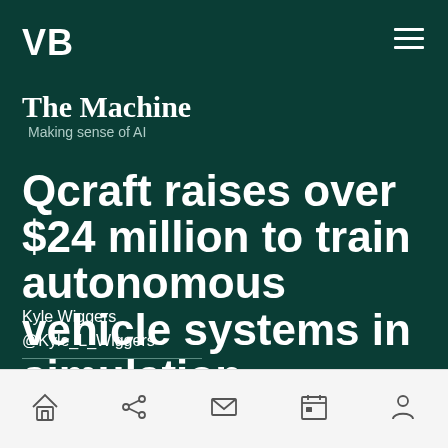VB
The Machine
Making sense of AI
Qcraft raises over $24 million to train autonomous vehicle systems in simulation
Kyle Wiggers
@Kyle_L_Wiggers